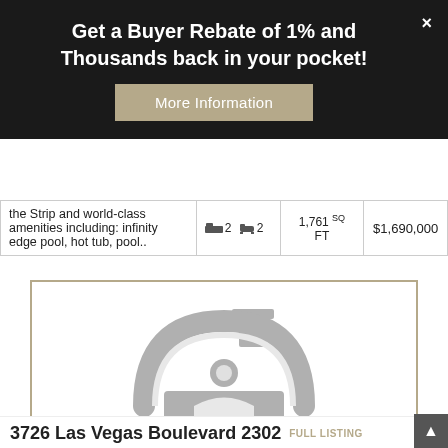Get a Buyer Rebate of 1% and Thousands back in your pocket!
More Information
| Description | Beds/Baths | SQ FT | Price |
| --- | --- | --- | --- |
| the Strip and world-class amenities including: infinity edge pool, hot tub, pool.. | 2 bed 2 bath | 1,761 SQ FT | $1,690,000 |
[Figure (illustration): Gray house/home placeholder icon with chimney and arch doorway on white background with gold border]
3726 Las Vegas Boulevard 2302  FULL LISTING